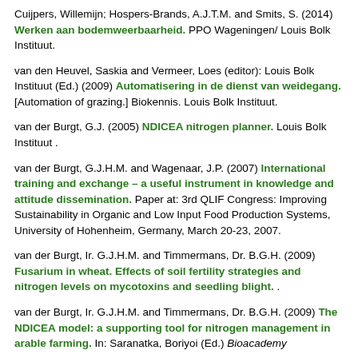Cuijpers, Willemijn; Hospers-Brands, A.J.T.M. and Smits, S. (2014) Werken aan bodemweerbaarheid. PPO Wageningen/ Louis Bolk Instituut.
van den Heuvel, Saskia and Vermeer, Loes (editor): Louis Bolk Instituut (Ed.) (2009) Automatisering in de dienst van weidegang. [Automation of grazing.] Biokennis. Louis Bolk Instituut.
van der Burgt, G.J. (2005) NDICEA nitrogen planner. Louis Bolk Instituut .
van der Burgt, G.J.H.M. and Wagenaar, J.P. (2007) International training and exchange – a useful instrument in knowledge and attitude dissemination. Paper at: 3rd QLIF Congress: Improving Sustainability in Organic and Low Input Food Production Systems, University of Hohenheim, Germany, March 20-23, 2007.
van der Burgt, Ir. G.J.H.M. and Timmermans, Dr. B.G.H. (2009) Fusarium in wheat. Effects of soil fertility strategies and nitrogen levels on mycotoxins and seedling blight. .
van der Burgt, Ir. G.J.H.M. and Timmermans, Dr. B.G.H. (2009) The NDICEA model: a supporting tool for nitrogen management in arable farming. In: Saranatka, Boriyoi (Ed.) Bioacademy